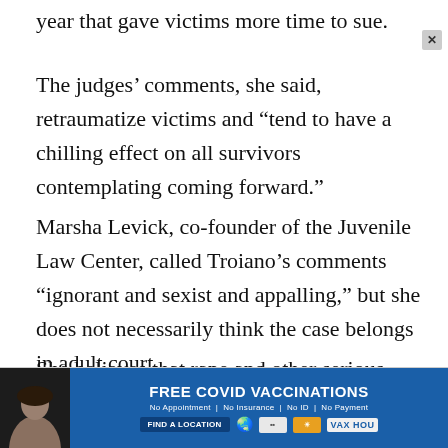year that gave victims more time to sue.
The judges’ comments, she said, retraumatize victims and “tend to have a chilling effect on all survivors contemplating coming forward.”
Marsha Levick, co-founder of the Juvenile Law Center, called Troiano’s comments “ignorant and sexist and appalling,” but she does not necessarily think the case belongs in adult court.
She believes that rape and other serious cases can be fairly adjudicated in juvenile court if
[Figure (infographic): Advertisement banner for free COVID vaccinations. Shows a woman's photo on left with dark background, and blue banner on right reading FREE COVID VACCINATIONS, No Appointment | No Insurance | No ID | No Payment, FIND A LOCATION button, and VAX HOU logo.]